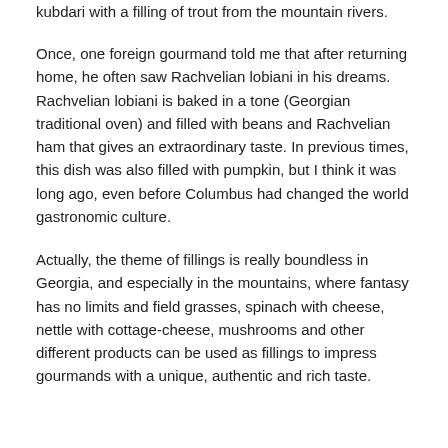kubdari with a filling of trout from the mountain rivers.
Once, one foreign gourmand told me that after returning home, he often saw Rachvelian lobiani in his dreams. Rachvelian lobiani is baked in a tone (Georgian traditional oven) and filled with beans and Rachvelian ham that gives an extraordinary taste. In previous times, this dish was also filled with pumpkin, but I think it was long ago, even before Columbus had changed the world gastronomic culture.
Actually, the theme of fillings is really boundless in Georgia, and especially in the mountains, where fantasy has no limits and field grasses, spinach with cheese, nettle with cottage-cheese, mushrooms and other different products can be used as fillings to impress gourmands with a unique, authentic and rich taste.